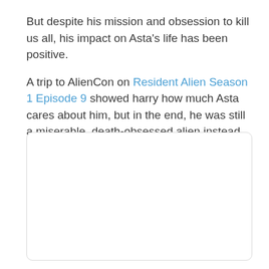But despite his mission and obsession to kill us all, his impact on Asta's life has been positive.
A trip to AlienCon on Resident Alien Season 1 Episode 9 showed harry how much Asta cares about him, but in the end, he was still a miserable, death-obsessed alien instead of the guy we know is in there.
[Figure (other): Empty white rounded box/image placeholder]